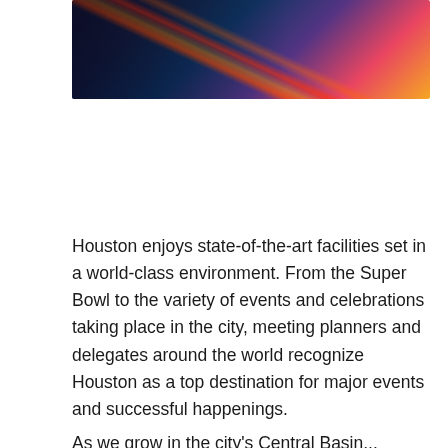[Figure (photo): Night street scene showing light streaks from cars, a bike-share station with red bicycles, and pedestrians on a city sidewalk in Houston.]
Houston enjoys state-of-the-art facilities set in a world-class environment. From the Super Bowl to the variety of events and celebrations taking place in the city, meeting planners and delegates around the world recognize Houston as a top destination for major events and successful happenings.
As we grow in the city's Central Basin...